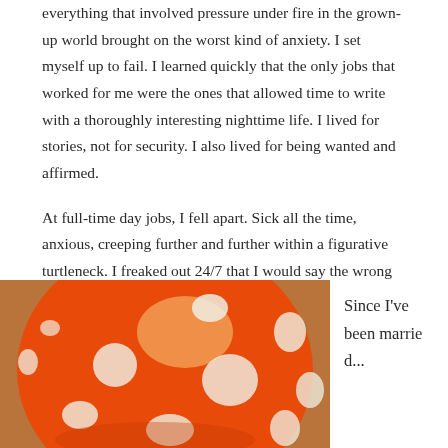everything that involved pressure under fire in the grown-up world brought on the worst kind of anxiety. I set myself up to fail. I learned quickly that the only jobs that worked for me were the ones that allowed time to write with a thoroughly interesting nighttime life. I lived for stories, not for security. I also lived for being wanted and affirmed.
At full-time day jobs, I fell apart. Sick all the time, anxious, creeping further and further within a figurative turtleneck. I freaked out 24/7 that I would say the wrong thing, and I often did.
[Figure (photo): Close-up photo of an orange balloon with white polka dots on a warm brown background]
Since I've been marrie d...